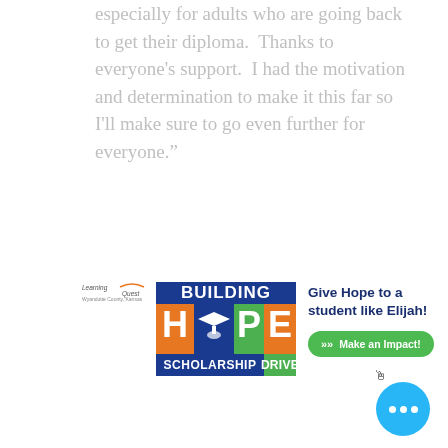especially for adults who are going back to get their diploma.  Thanks to everyone's support.  I had the motivation and determination to make it this far so I'll make sure to go even further for everyone."
[Figure (logo): Learning Quest Building Hope Scholarship Drive logo — colorful block letters H, P, E with graduation cap figure, orange and green and blue blocks]
Give Hope to a student like Elijah!
Make an Impact!